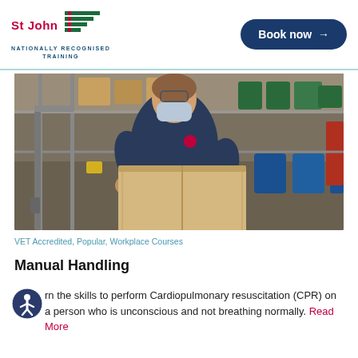St John — Nationally Recognised Training | Book now
[Figure (photo): A person wearing a blue uniform and face mask lifting a large cardboard box in a warehouse/stockroom setting with shelves of supplies in the background.]
VET Accredited, Popular, Workplace Courses
Manual Handling
Learn the skills to perform Cardiopulmonary resuscitation (CPR) on a person who is unconscious and not breathing normally. Read More